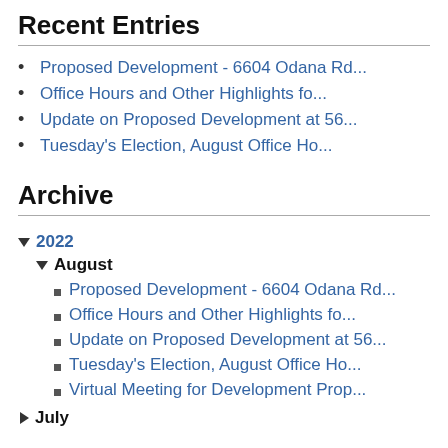Recent Entries
Proposed Development - 6604 Odana Rd...
Office Hours and Other Highlights fo...
Update on Proposed Development at 56...
Tuesday's Election, August Office Ho...
Archive
2022
August
Proposed Development - 6604 Odana Rd...
Office Hours and Other Highlights fo...
Update on Proposed Development at 56...
Tuesday's Election, August Office Ho...
Virtual Meeting for Development Prop...
July